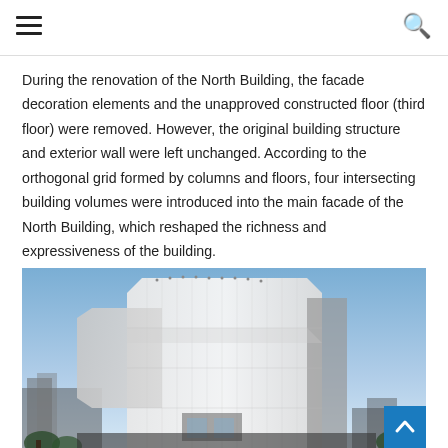During the renovation of the North Building, the facade decoration elements and the unapproved constructed floor (third floor) were removed. However, the original building structure and exterior wall were left unchanged. According to the orthogonal grid formed by columns and floors, four intersecting building volumes were introduced into the main facade of the North Building, which reshaped the richness and expressiveness of the building.
[Figure (photo): Exterior photograph of a modern white building with geometric volumes and glass facade panels, photographed from below against a blue sky, with trees visible at the base.]